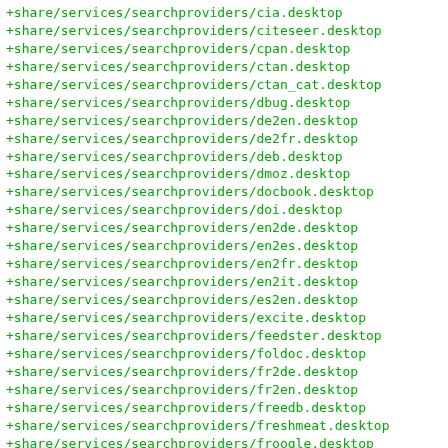+share/services/searchproviders/cia.desktop
+share/services/searchproviders/citeseer.desktop
+share/services/searchproviders/cpan.desktop
+share/services/searchproviders/ctan.desktop
+share/services/searchproviders/ctan_cat.desktop
+share/services/searchproviders/dbug.desktop
+share/services/searchproviders/de2en.desktop
+share/services/searchproviders/de2fr.desktop
+share/services/searchproviders/deb.desktop
+share/services/searchproviders/dmoz.desktop
+share/services/searchproviders/docbook.desktop
+share/services/searchproviders/doi.desktop
+share/services/searchproviders/en2de.desktop
+share/services/searchproviders/en2es.desktop
+share/services/searchproviders/en2fr.desktop
+share/services/searchproviders/en2it.desktop
+share/services/searchproviders/es2en.desktop
+share/services/searchproviders/excite.desktop
+share/services/searchproviders/feedster.desktop
+share/services/searchproviders/foldoc.desktop
+share/services/searchproviders/fr2de.desktop
+share/services/searchproviders/fr2en.desktop
+share/services/searchproviders/freedb.desktop
+share/services/searchproviders/freshmeat.desktop
+share/services/searchproviders/froogle.desktop
+share/services/searchproviders/fsd.desktop
+share/services/searchproviders/google.desktop
+share/services/searchproviders/google_advanced.desktop
+share/services/searchproviders/google_groups.desktop
+share/services/searchproviders/google_images.desktop
+share/services/searchproviders/google_lucky.desktop